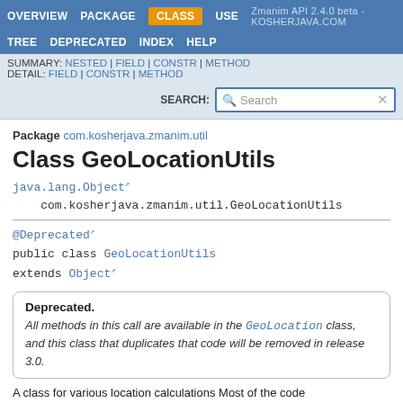Zmanim API 2.4.0 beta - KOSHERJAVA.COM
OVERVIEW | PACKAGE | CLASS | USE | TREE | DEPRECATED | INDEX | HELP
SUMMARY: NESTED | FIELD | CONSTR | METHOD
DETAIL: FIELD | CONSTR | METHOD
Package com.kosherjava.zmanim.util
Class GeoLocationUtils
java.lang.Object
    com.kosherjava.zmanim.util.GeoLocationUtils
@Deprecated
public class GeoLocationUtils
extends Object
Deprecated.
All methods in this call are available in the GeoLocation class, and this class that duplicates that code will be removed in release 3.0.
A class for various location calculations Most of the code